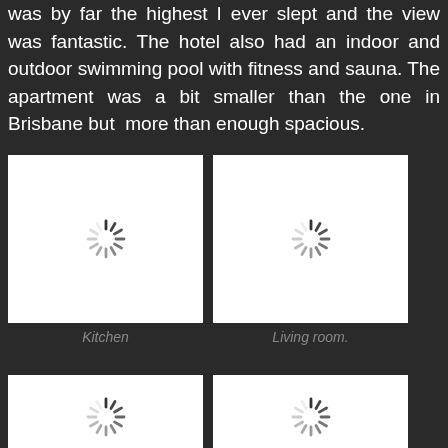was by far the highest I ever slept and the view was fantastic. The hotel also had an indoor and outdoor swimming pool with fitness and sauna. The apartment was a bit smaller than the one in Brisbane but more than enough spacious.
[Figure (photo): White box with loading spinner icon representing Kitchen photo]
Kitchen
[Figure (photo): White box with loading spinner icon representing Living room photo]
Living room.
[Figure (photo): White box with loading spinner icon representing another room photo (bottom left)]
[Figure (photo): White box with loading spinner icon representing another room photo (bottom right)]